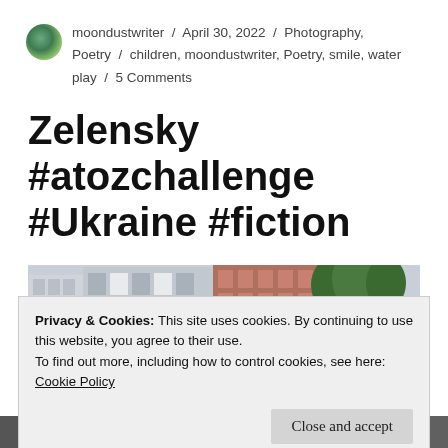moondustwriter / April 30, 2022 / Photography, Poetry / children, moondustwriter, Poetry, smile, water play / 5 Comments
Zelensky #atozchallenge #Ukraine #fiction
[Figure (photo): Partial view of a street scene with buildings and trees]
Privacy & Cookies: This site uses cookies. By continuing to use this website, you agree to their use.
To find out more, including how to control cookies, see here:
Cookie Policy
Close and accept